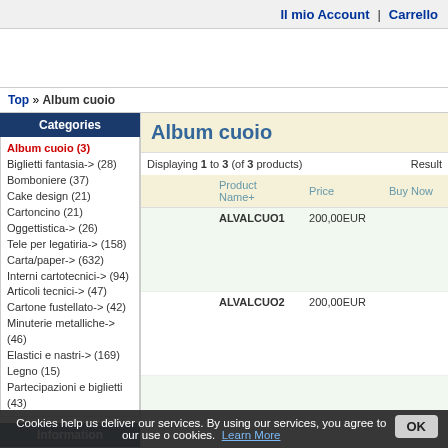Il mio Account | Carrello
Top » Album cuoio
Album cuoio
Displaying 1 to 3 (of 3 products)  Results
Album cuoio (3)
Biglietti fantasia-> (28)
Bomboniere (37)
Cake design (21)
Cartoncino (21)
Oggettistica-> (26)
Tele per legatiria-> (158)
Carta/paper-> (632)
Interni cartotecnici-> (94)
Articoli tecnici-> (47)
Cartone fustellato-> (42)
Minuterie metalliche-> (46)
Elastici e nastri-> (169)
Legno (15)
Partecipazioni e biglietti (43)
Information
|  | Product Name+ | Price | Buy Now |
| --- | --- | --- | --- |
|  | ALVALCUO1 | 200,00EUR |  |
|  | ALVALCUO2 | 200,00EUR |  |
|  | ALVALCUO3 | 200,00EUR |  |
Cookies help us deliver our services. By using our services, you agree to our use of cookies. Learn More  OK